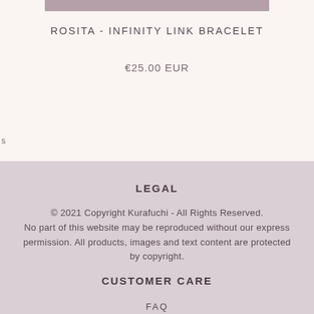[Figure (photo): Partial view of a bracelet product image at top of page, showing a cropped mauve/purple toned photo]
ROSITA - INFINITY LINK BRACELET
€25.00 EUR
s
LEGAL
© 2021 Copyright Kurafuchi - All Rights Reserved. No part of this website may be reproduced without our express permission. All products, images and text content are protected by copyright.
CUSTOMER CARE
FAQ